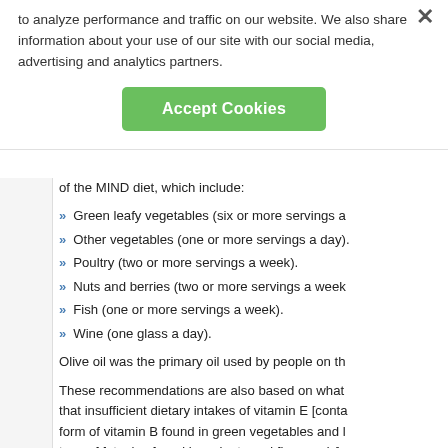to analyze performance and traffic on our website. We also share information about your use of our site with our social media, advertising and analytics partners.
Accept Cookies
of the MIND diet, which include:
Green leafy vegetables (six or more servings a week).
Other vegetables (one or more servings a day).
Poultry (two or more servings a week).
Nuts and berries (two or more servings a week).
Fish (one or more servings a week).
Wine (one glass a day).
Olive oil was the primary oil used by people on the
These recommendations are also based on what that insufficient dietary intakes of vitamin E [conta form of vitamin B found in green vegetables and l type of fat, also found in walnuts and flax seeds], oil] increased cognitive decline and risk of develo The researchers' findings were published in Alzhe